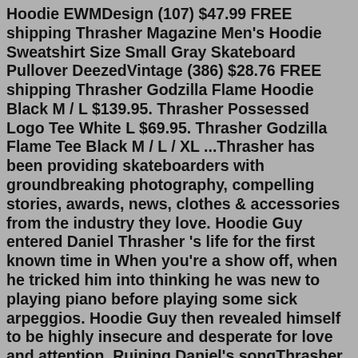Hoodie EWMDesign (107) $47.99 FREE shipping Thrasher Magazine Men's Hoodie Sweatshirt Size Small Gray Skateboard Pullover DeezedVintage (386) $28.76 FREE shipping Thrasher Godzilla Flame Hoodie Black M / L $139.95. Thrasher Possessed Logo Tee White L $69.95. Thrasher Godzilla Flame Tee Black M / L / XL ...Thrasher has been providing skateboarders with groundbreaking photography, compelling stories, awards, news, clothes & accessories from the industry they love. Hoodie Guy entered Daniel Thrasher 's life for the first known time in When you're a show off, when he tricked him into thinking he was new to playing piano before playing some sick arpeggios. Hoodie Guy then revealed himself to be highly insecure and desperate for love and attention. Ruining Daniel's songThrasher skateboard magazine thrasher T-shirts, Raglans, Longsleeve Shirts, Polos, Tanks, Girls and Kids Shirts. Thrasher Online Store Home. Search Search Shop / Shirts Thrasher Worlwide T-shirt (Navy/Red) $39.95. Atlantic Drift T-shirt (Black/Orange) $39.95.